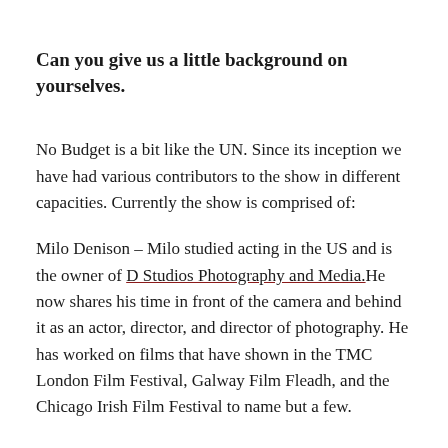Can you give us a little background on yourselves.
No Budget is a bit like the UN. Since its inception we have had various contributors to the show in different capacities. Currently the show is comprised of:
Milo Denison – Milo studied acting in the US and is the owner of D Studios Photography and Media.He now shares his time in front of the camera and behind it as an actor, director, and director of photography. He has worked on films that have shown in the TMC London Film Festival, Galway Film Fleadh, and the Chicago Irish Film Festival to name but a few.